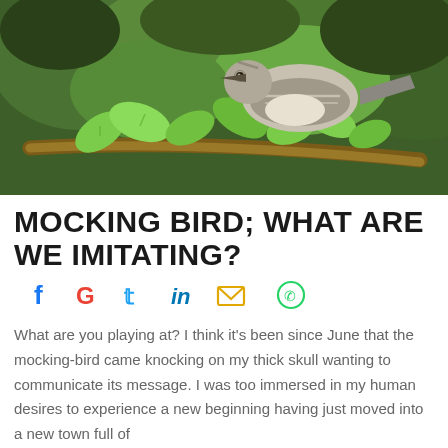[Figure (photo): A mockingbird perched on a tree branch with green leaves, photographed against a blurred green forest background.]
MOCKING BIRD; WHAT ARE WE IMITATING?
[Figure (infographic): Social media sharing icons: Facebook (blue), Google (multicolor), Twitter (blue bird), LinkedIn (blue 'in'), Email (yellow envelope), WhatsApp (green circle)]
What are you playing at? I think it's been since June that the mocking-bird came knocking on my thick skull wanting to communicate its message. I was too immersed in my human desires to experience a new beginning having just moved into a new town full of